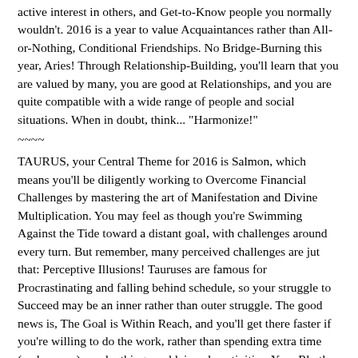active interest in others, and Get-to-Know people you normally wouldn't. 2016 is a year to value Acquaintances rather than All-or-Nothing, Conditional Friendships. No Bridge-Burning this year, Aries! Through Relationship-Building, you'll learn that you are valued by many, you are good at Relationships, and you are quite compatible with a wide range of people and social situations. When in doubt, think... "Harmonize!"
~~~~
TAURUS, your Central Theme for 2016 is Salmon, which means you'll be diligently working to Overcome Financial Challenges by mastering the art of Manifestation and Divine Multiplication. You may feel as though you're Swimming Against the Tide toward a distant goal, with challenges around every turn. But remember, many perceived challenges are jut that: Perceptive Illusions! Tauruses are famous for Procrastinating and falling behind schedule, so your struggle to Succeed may be an inner rather than outer struggle. The good news is, The Goal is Within Reach, and you'll get there faster if you're willing to do the work, rather than spending extra time (and money) on playthings and leisurely activities. Your Rhythm will be found within a balanced schedule of work alternating with rest. No matter what flows your way, Keep Swimming, and Do Not Give Up!